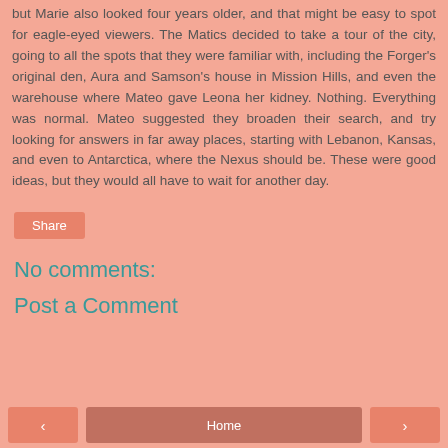but Marie also looked four years older, and that might be easy to spot for eagle-eyed viewers. The Matics decided to take a tour of the city, going to all the spots that they were familiar with, including the Forger's original den, Aura and Samson's house in Mission Hills, and even the warehouse where Mateo gave Leona her kidney. Nothing. Everything was normal. Mateo suggested they broaden their search, and try looking for answers in far away places, starting with Lebanon, Kansas, and even to Antarctica, where the Nexus should be. These were good ideas, but they would all have to wait for another day.
Share
No comments:
Post a Comment
‹  Home  ›